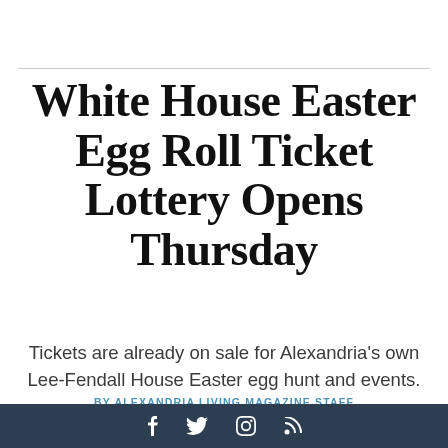White House Easter Egg Roll Ticket Lottery Opens Thursday
Tickets are already on sale for Alexandria's own Lee-Fendall House Easter egg hunt and events.
BY ALEXANDRIA LIVING MAGAZINE STAFF
f  y  [instagram]  [rss]